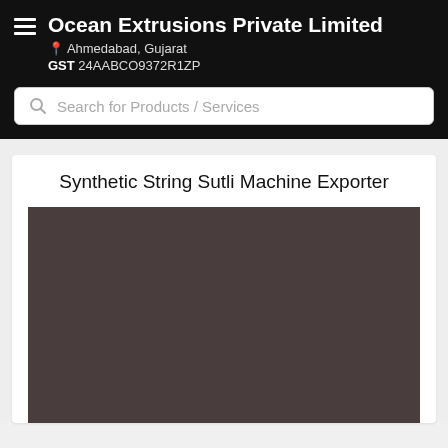Ocean Extrusions Private Limited
Ahmedabad, Gujarat
GST 24AABCO9372R1ZP
Search for Products / Services
Synthetic String Sutli Machine Exporter
[Figure (photo): Dark brownish-gray product image placeholder for Synthetic String Sutli Machine]